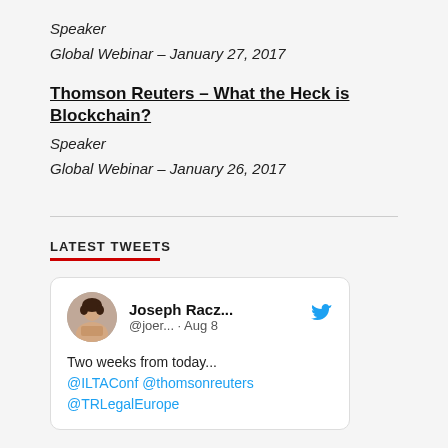Speaker
Global Webinar – January 27, 2017
Thomson Reuters – What the Heck is Blockchain?
Speaker
Global Webinar – January 26, 2017
LATEST TWEETS
[Figure (screenshot): Tweet card from Joseph Racz... (@joer...) dated Aug 8 reading: Two weeks from today... @ILTAConf @thomsonreuters @TRLegalEurope]